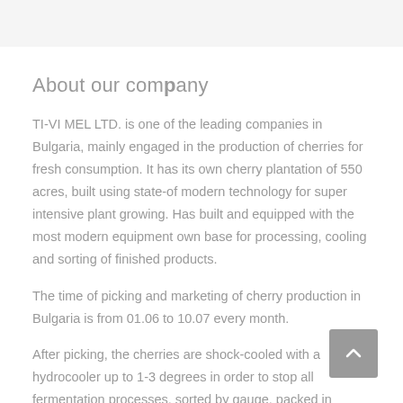About our company
TI-VI MEL LTD. is one of the leading companies in Bulgaria, mainly engaged in the production of cherries for fresh consumption. It has its own cherry plantation of 550 acres, built using state-of modern technology for super intensive plant growing. Has built and equipped with the most modern equipment own base for processing, cooling and sorting of finished products.
The time of picking and marketing of cherry production in Bulgaria is from 01.06 to 10.07 every month.
After picking, the cherries are shock-cooled with a hydrocooler up to 1-3 degrees in order to stop all fermentation processes, sorted by gauge, packed in